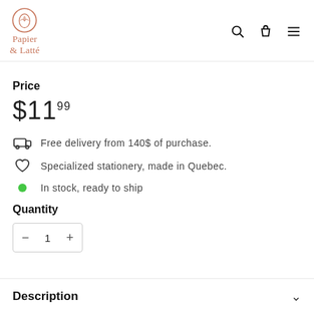Papier & Latté — navigation header with logo, search, bag, menu icons
Price
$11.99
Free delivery from 140$ of purchase.
Specialized stationery, made in Quebec.
In stock, ready to ship
Quantity
− 1 +
Description